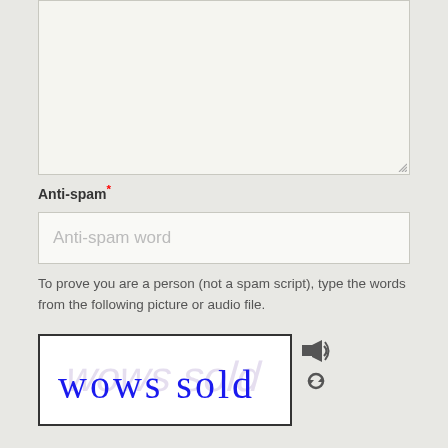[Figure (screenshot): Empty textarea input box with resize handle at bottom right]
Anti-spam*
[Figure (screenshot): Text input field with placeholder text 'Anti-spam word']
To prove you are a person (not a spam script), type the words from the following picture or audio file.
[Figure (screenshot): CAPTCHA image showing handwritten text 'wows sold' in blue ink on white background with decorative purple text behind, accompanied by audio and refresh icons]